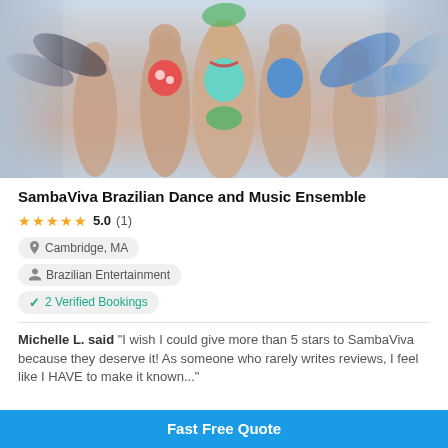[Figure (photo): Group photo of SambaViva Brazilian Dance and Music Ensemble performers in colorful carnival costumes with feathers and sequins]
SambaViva Brazilian Dance and Music Ensemble
★★★★★ 5.0 (1)
Cambridge, MA
Brazilian Entertainment
✓ 2 Verified Bookings
Michelle L. said "I wish I could give more than 5 stars to SambaViva because they deserve it! As someone who rarely writes reviews, I feel like I HAVE to make it known..."
Fast Free Quote